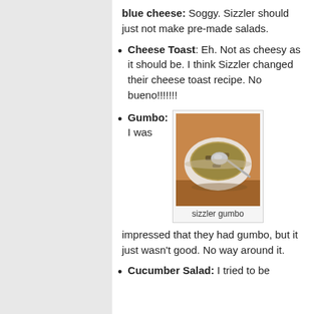blue cheese: Soggy. Sizzler should just not make pre-made salads.
Cheese Toast: Eh. Not as cheesy as it should be. I think Sizzler changed their cheese toast recipe. No bueno!!!!!!!
Gumbo: I was
[Figure (photo): A white ceramic bowl of gumbo soup with a spoon, sitting on a wooden surface. Caption reads: sizzler gumbo]
impressed that they had gumbo, but it just wasn't good. No way around it.
Cucumber Salad: I tried to be